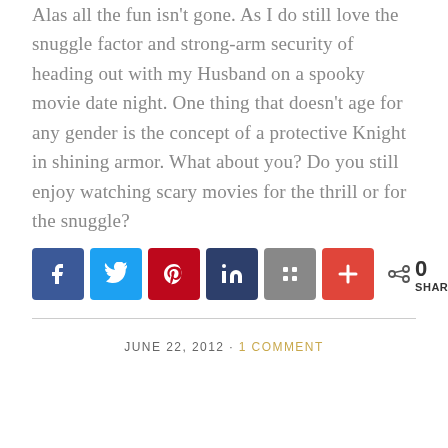Alas all the fun isn't gone. As I do still love the snuggle factor and strong-arm security of heading out with my Husband on a spooky movie date night. One thing that doesn't age for any gender is the concept of a protective Knight in shining armor. What about you? Do you still enjoy watching scary movies for the thrill or for the snuggle?
[Figure (infographic): Social share buttons: Facebook (blue), Twitter (light blue), Pinterest (red), LinkedIn (dark blue), Goodreads/Buffer (grey), Plus/More (red). Share count shows 0 SHARES.]
JUNE 22, 2012 · 1 COMMENT